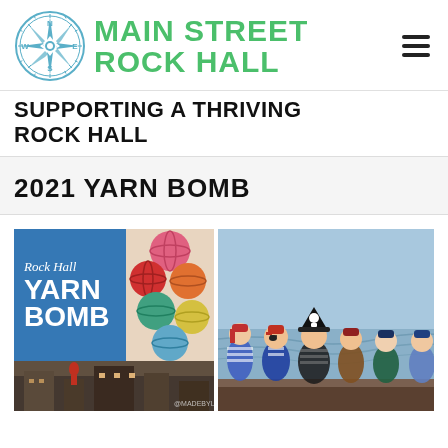[Figure (logo): Main Street Rock Hall logo with compass rose icon and green text]
SUPPORTING A THRIVING ROCK HALL
2021 YARN BOMB
[Figure (photo): Collage: Rock Hall Yarn Bomb blue poster with italic script and colorful yarn balls, plus bottom strip showing street scene]
[Figure (photo): Photo of knitted pirate dolls and figurines sitting on a boat deck with water in background]